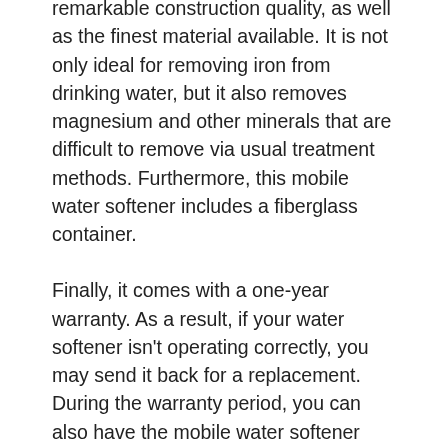remarkable construction quality, as well as the finest material available. It is not only ideal for removing iron from drinking water, but it also removes magnesium and other minerals that are difficult to remove via usual treatment methods. Furthermore, this mobile water softener includes a fiberglass container.
Finally, it comes with a one-year warranty. As a result, if your water softener isn't operating correctly, you may send it back for a replacement. During the warranty period, you can also have the mobile water softener repaired.
The mobile safe unit is a budget device with good quality also Suitable for Recreational Vehicle Use. It has a fantastic regeneration